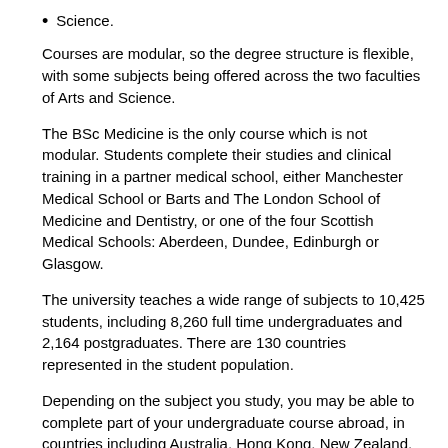Science.
Courses are modular, so the degree structure is flexible, with some subjects being offered across the two faculties of Arts and Science.
The BSc Medicine is the only course which is not modular. Students complete their studies and clinical training in a partner medical school, either Manchester Medical School or Barts and The London School of Medicine and Dentistry, or one of the four Scottish Medical Schools: Aberdeen, Dundee, Edinburgh or Glasgow.
The university teaches a wide range of subjects to 10,425 students, including 8,260 full time undergraduates and 2,164 postgraduates. There are 130 countries represented in the student population.
Depending on the subject you study, you may be able to complete part of your undergraduate course abroad, in countries including Australia, Hong Kong, New Zealand, Singapore, Canada and the USA.